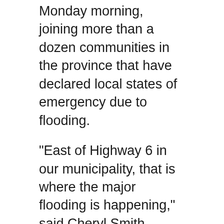Monday morning, joining more than a dozen communities in the province that have declared local states of emergency due to flooding.
"East of Highway 6 in our municipality, that is where the major flooding is happening," said Cheryl Smith, reeve for the rural municipality. "We have up to eight, maybe 10 roads that are closed with the overland flooding, they've been washed out."
She said the RM is currently doing a community assessment using drones and public work staff. Smith said at this point there are no plans to evacuate any homes, though she said residents in St. Laurent should call the municipality office if they are being overwhelmed or need help with pumping.